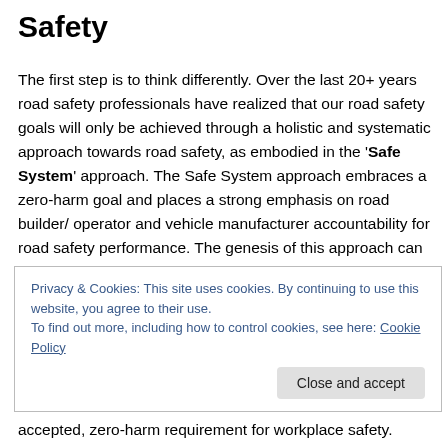Safety
The first step is to think differently. Over the last 20+ years road safety professionals have realized that our road safety goals will only be achieved through a holistic and systematic approach towards road safety, as embodied in the 'Safe System' approach. The Safe System approach embraces a zero-harm goal and places a strong emphasis on road builder/ operator and vehicle manufacturer accountability for road safety performance. The genesis of this approach can be found in the Swedish Vision Zero
Privacy & Cookies: This site uses cookies. By continuing to use this website, you agree to their use.
To find out more, including how to control cookies, see here: Cookie Policy
accepted, zero-harm requirement for workplace safety.